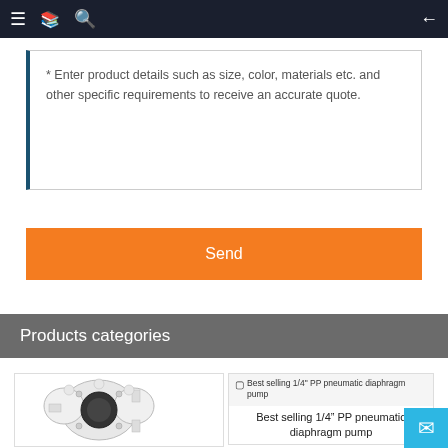Navigation bar with menu, catalog, search, and back icons
* Enter product details such as size, color, materials etc. and other specific requirements to receive an accurate quote.
Send
Products categories
[Figure (photo): White pneumatic diaphragm pump with black center section]
[Figure (photo): Best selling 1/4" PP pneumatic diaphragm pump product card with image placeholder and text]